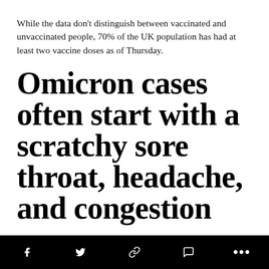While the data don't distinguish between vaccinated and unvaccinated people, 70% of the UK population has had at least two vaccine doses as of Thursday.
Omicron cases often start with a scratchy sore throat, headache, and congestion
Dr. Jorge Moreno said he's seen an influx of COVID-19